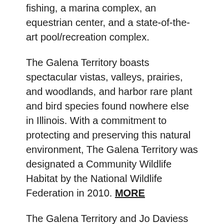fishing, a marina complex, an equestrian center, and a state-of-the-art pool/recreation complex.
The Galena Territory boasts spectacular vistas, valleys, prairies, and woodlands, and harbor rare plant and bird species found nowhere else in Illinois. With a commitment to protecting and preserving this natural environment, The Galena Territory was designated a Community Wildlife Habitat by the National Wildlife Federation in 2010. MORE
The Galena Territory and Jo Daviess County are found in a unique geographical region called the Driftless Area, referring to the ridges and valleys the glaciers of the Pleistocene Epoch avoided.
The Galena Territory...